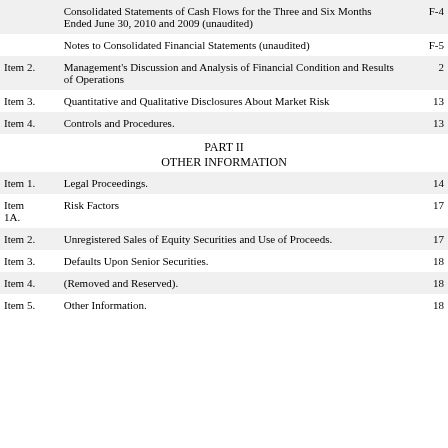| Item | Description | Page |
| --- | --- | --- |
|  | Consolidated Statements of Cash Flows for the Three and Six Months Ended June 30, 2010 and 2009 (unaudited) | F-4 |
|  | Notes to Consolidated Financial Statements (unaudited) | F-5 |
| Item 2. | Management's Discussion and Analysis of Financial Condition and Results of Operations | 2 |
| Item 3. | Quantitative and Qualitative Disclosures About Market Risk | 13 |
| Item 4. | Controls and Procedures. | 13 |
PART II
OTHER INFORMATION
| Item | Description | Page |
| --- | --- | --- |
| Item 1. | Legal Proceedings. | 14 |
| Item 1A. | Risk Factors | 17 |
| Item 2. | Unregistered Sales of Equity Securities and Use of Proceeds. | 17 |
| Item 3. | Defaults Upon Senior Securities. | 18 |
| Item 4. | (Removed and Reserved). | 18 |
| Item 5. | Other Information. | 18 |